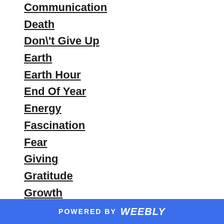Communication
Death
Don't Give Up
Earth
Earth Hour
End Of Year
Energy
Fascination
Fear
Giving
Gratitude
Growth
Gut Instinct
Happiness
Ideas
Inner Knowing
Inspiration
POWERED BY weebly